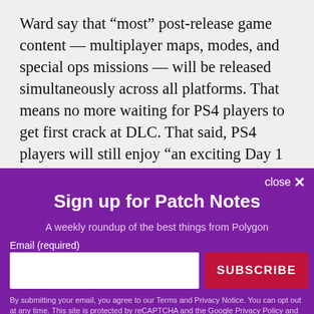Ward say that “most” post-release game content — multiplayer maps, modes, and special ops missions — will be released simultaneously across all platforms. That means no more waiting for PS4 players to get first crack at DLC. That said, PS4 players will still enjoy “an exciting Day 1 advantage,” but developers
Sign up for Patch Notes
A weekly roundup of the best things from Polygon
Email (required)
By submitting your email, you agree to our Terms and Privacy Notice. You can opt out at any time. This site is protected by reCAPTCHA and the Google Privacy Policy and Terms of Service apply.